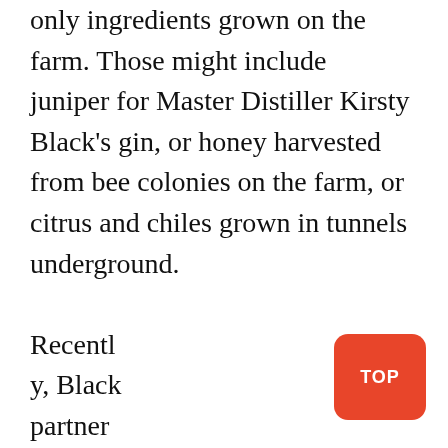only ingredients grown on the farm. Those might include juniper for Master Distiller Kirsty Black's gin, or honey harvested from bee colonies on the farm, or citrus and chiles grown in tunnels underground.

Recently, Black partnered with Abertay University and